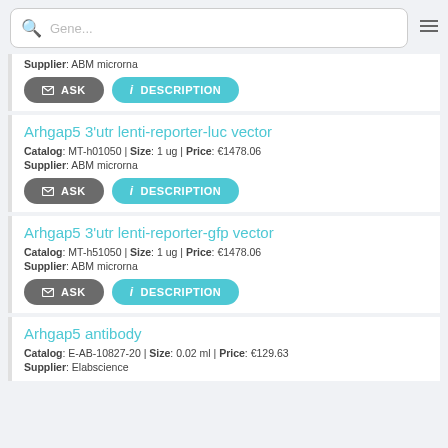[Figure (screenshot): Search bar with magnifying glass icon and placeholder text 'Gene...' and hamburger menu icon]
Supplier: ABM microrna
ASK   DESCRIPTION (buttons for first partial card)
Arhgap5 3'utr lenti-reporter-luc vector
Catalog: MT-h01050 | Size: 1 ug | Price: €1478.06
Supplier: ABM microrna
ASK   DESCRIPTION (buttons)
Arhgap5 3'utr lenti-reporter-gfp vector
Catalog: MT-h51050 | Size: 1 ug | Price: €1478.06
Supplier: ABM microrna
ASK   DESCRIPTION (buttons)
Arhgap5 antibody
Catalog: E-AB-10827-20 | Size: 0.02 ml | Price: €129.63
Supplier: Elabscience